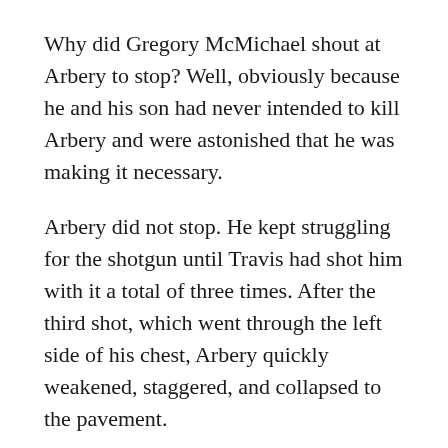Why did Gregory McMichael shout at Arbery to stop? Well, obviously because he and his son had never intended to kill Arbery and were astonished that he was making it necessary.
Arbery did not stop. He kept struggling for the shotgun until Travis had shot him with it a total of three times. After the third shot, which went through the left side of his chest, Arbery quickly weakened, staggered, and collapsed to the pavement.
Aftermath
Alerted by the first 911 call, the police soon arrived. Arbery by then was dead. Travis